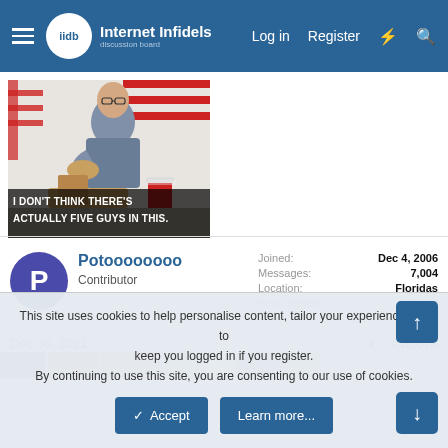Internet Infidels Discussion Board — Log in | Register
[Figure (photo): A meme image showing a man eating a burger at Five Guys restaurant with caption: I DON'T THINK THERE'S ACTUALLY FIVE GUYS IN THIS.]
Potoooooooo
Contributor
Joined: Dec 4, 2006
Messages: 7,004
Location: Floridas
Basic Beliefs: atheist
Dec 30, 2021  #16,678
[Figure (screenshot): Partial view of next post image strip]
This site uses cookies to help personalise content, tailor your experience and to keep you logged in if you register.
By continuing to use this site, you are consenting to our use of cookies.